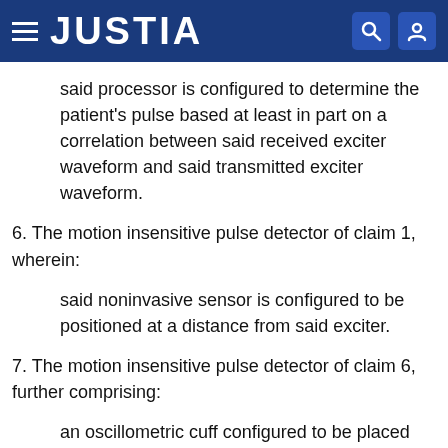JUSTIA
said processor is configured to determine the patient's pulse based at least in part on a correlation between said received exciter waveform and said transmitted exciter waveform.
6. The motion insensitive pulse detector of claim 1, wherein:
said noninvasive sensor is configured to be positioned at a distance from said exciter.
7. The motion insensitive pulse detector of claim 6, further comprising:
an oscillometric cuff configured to be placed over said exciter and over said noninvasive sensor and configured to inflate to a predetermined pressure; and